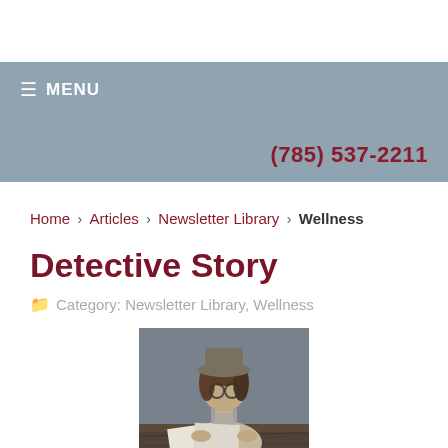≡ MENU    (785) 537-2211
Home › Articles › Newsletter Library › Wellness
Detective Story
Category: Newsletter Library, Wellness
[Figure (photo): A child or young person dressed as a detective, wearing a hat and glasses, looking down at something on a wooden surface.]